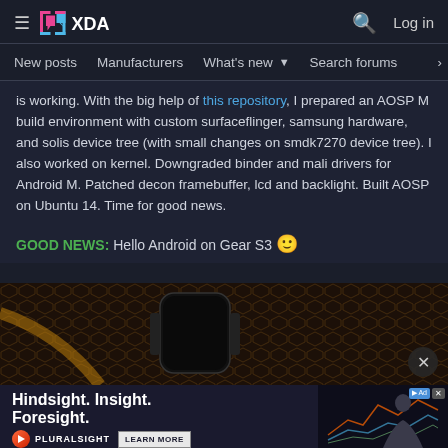XDA Developers — New posts | Manufacturers | What's new | Search forums | Members | Log in
is working. With the big help of this repository, I prepared an AOSP M build environment with custom surfaceflinger, samsung hardware, and solis device tree (with small changes on smdk7270 device tree). I also worked on kernel. Downgraded binder and mali drivers for Android M. Patched decon framebuffer, lcd and backlight. Built AOSP on Ubuntu 14. Time for good news.
GOOD NEWS: Hello Android on Gear S3 🙂
[Figure (photo): Dark photo of a Samsung Gear S3 smartwatch on a textured brown background]
[Figure (infographic): Pluralsight advertisement: Hindsight. Insight. Foresight. with woman at computer and colorful line chart. Learn More button.]